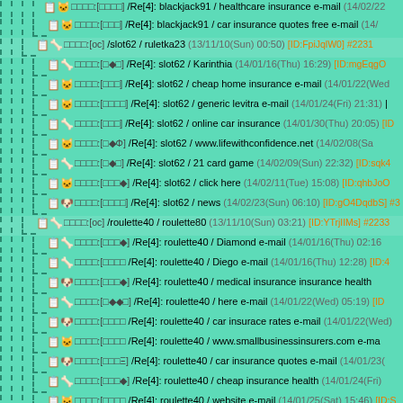/Re[4]: blackjack91 / healthcare insurance e-mail (14/02/22
/Re[4]: blackjack91 / car insurance quotes free e-mail (14/
/slot62 / ruletka23 (13/11/10(Sun) 00:50) [ID:FpiJqlW0] #2231
/Re[4]: slot62 / Karinthia (14/01/16(Thu) 16:29) [ID:mgEqgO
/Re[4]: slot62 / cheap home insurance e-mail (14/01/22(Wed
/Re[4]: slot62 / generic levitra e-mail (14/01/24(Fri) 21:31)
/Re[4]: slot62 / online car insurance (14/01/30(Thu) 20:05) [ID
/Re[4]: slot62 / www.lifewithconfidence.net (14/02/08(Sa
/Re[4]: slot62 / 21 card game (14/02/09(Sun) 22:32) [ID:sqk4
/Re[4]: slot62 / click here (14/02/11(Tue) 15:08) [ID:qhbJoO
/Re[4]: slot62 / news (14/02/23(Sun) 06:10) [ID:gO4DqdbS] #3
/roulette40 / roulette80 (13/11/10(Sun) 03:21) [ID:YTrjIIMs] #2233
/Re[4]: roulette40 / Diamond e-mail (14/01/16(Thu) 02:16
/Re[4]: roulette40 / Diego e-mail (14/01/16(Thu) 12:28) [ID:4
/Re[4]: roulette40 / medical insurance insurance health
/Re[4]: roulette40 / here e-mail (14/01/22(Wed) 05:19) [ID
/Re[4]: roulette40 / car insurace rates e-mail (14/01/22(Wed)
/Re[4]: roulette40 / www.smallbusinessinsurers.com e-ma
/Re[4]: roulette40 / car insurance quotes e-mail (14/01/23(
/Re[4]: roulette40 / cheap insurance health (14/01/24(Fri)
/Re[4]: roulette40 / website e-mail (14/01/25(Sat) 15:46) [ID:S
/Re[4]: roulette40 / here e-mail (14/01/29(Wed) 14:29) [ID